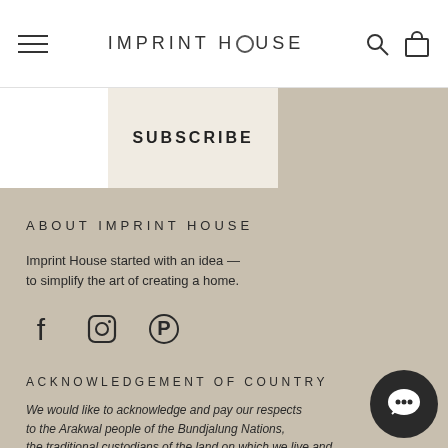IMPRINT HOUSE
SUBSCRIBE
ABOUT IMPRINT HOUSE
Imprint House started with an idea — to simplify the art of creating a home.
[Figure (other): Social media icons: Facebook, Instagram, Pinterest]
ACKNOWLEDGEMENT OF COUNTRY
We would like to acknowledge and pay our respects to the Arakwal people of the Bundjalung Nations, the traditional custodians of the land on which we live and